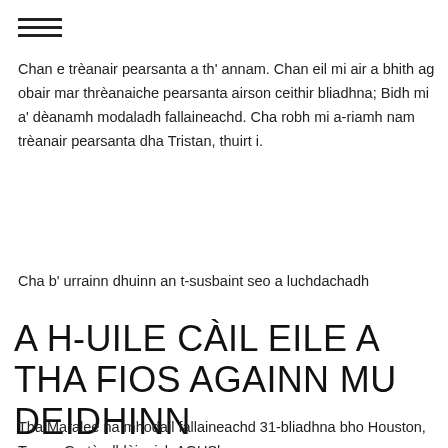≡
Chan e trèanair pearsanta a th' annam. Chan eil mi air a bhith ag obair mar thrèanaiche pearsanta airson ceithir bliadhna; Bidh mi a' dèanamh modaladh fallaineachd. Cha robh mi a-riamh nam trèanair pearsanta dha Tristan, thuirt i.
Cha b' urrainn dhuinn an t-susbaint seo a luchdachadh
A H-UILE CÀIL EILE A THA FIOS AGAINN MU DEIDHINN
Tha Maralee na mhodail fallaineachd 31-bliadhna bho Houston, Texas. Ge tà, dhlùinnich AGUSlow...